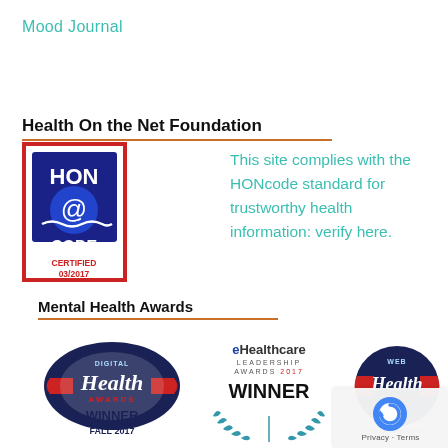Mood Journal
Health On the Net Foundation
[Figure (logo): HON Code Certified 03/2017 logo - red and blue badge with '@' symbol]
This site complies with the HONcode standard for trustworthy health information: verify here.
Mental Health Awards
[Figure (logo): Digital Health Awards - WINNER FALL 2017 badge]
[Figure (logo): eHealthcare Leadership Awards 2017 - WINNER badge with laurel wreath]
[Figure (logo): Web Health Awards logo with www.ahcmspring.com text]
[Figure (logo): reCAPTCHA privacy badge with Privacy - Terms text]